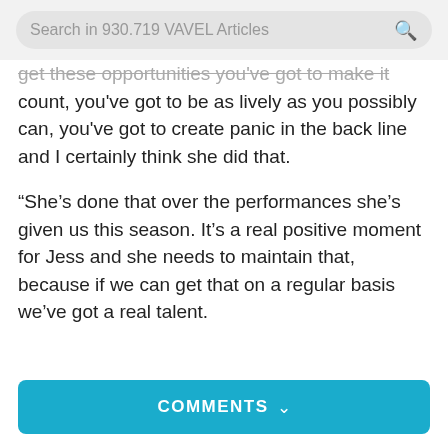Search in 930.719 VAVEL Articles
get these opportunities you've got to make it count, you've got to be as lively as you possibly can, you've got to create panic in the back line and I certainly think she did that.
“She’s done that over the performances she’s given us this season. It’s a real positive moment for Jess and she needs to maintain that, because if we can get that on a regular basis we’ve got a real talent.
COMMENTS ⌄